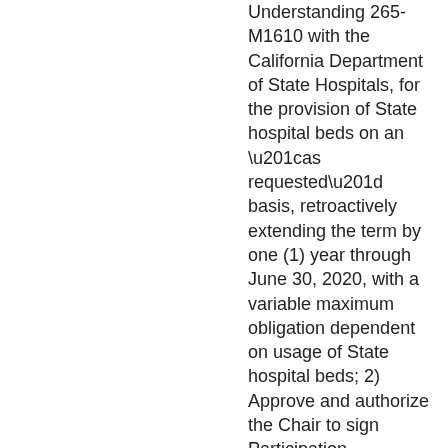Understanding 265-M1610 with the California Department of State Hospitals, for the provision of State hospital beds on an “as requested” basis, retroactively extending the term by one (1) year through June 30, 2020, with a variable maximum obligation dependent on usage of State hospital beds; 2) Approve and authorize the Chair to sign Participation Agreement 4282 with California Mental Health Services Authority (CalMHSA) Joint Powers Authority (JPA), to participate